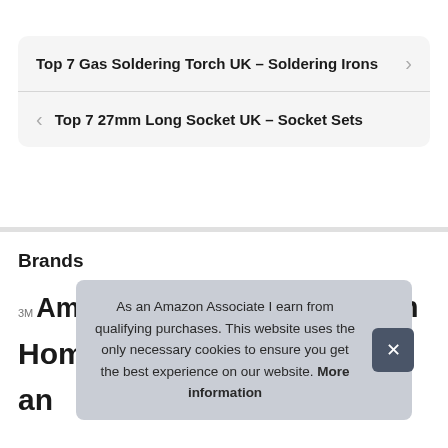Top 7 Gas Soldering Torch UK – Soldering Irons
Top 7 27mm Long Socket UK – Socket Sets
Brands
3M Amtech Bahco BG Electrical BOSCH Bosch Home and … Dr… Wor… Tools… Rolson RONSEAL Rust Oleum … Sealey
As an Amazon Associate I earn from qualifying purchases. This website uses the only necessary cookies to ensure you get the best experience on our website. More information